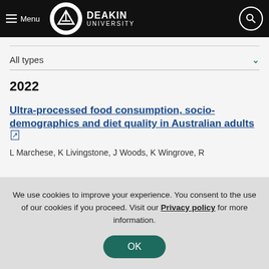Deakin University — Menu / Search navigation bar
All types
2022
Ultra-processed food consumption, socio-demographics and diet quality in Australian adults
L Marchese, K Livingstone, J Woods, K Wingrove, R...
We use cookies to improve your experience. You consent to the use of our cookies if you proceed. Visit our Privacy policy for more information.